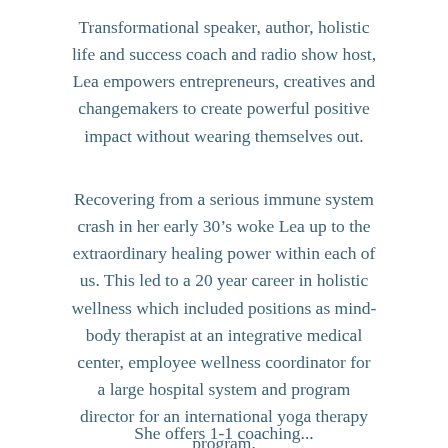Transformational speaker, author, holistic life and success coach and radio show host, Lea empowers entrepreneurs, creatives and changemakers to create powerful positive impact without wearing themselves out.
Recovering from a serious immune system crash in her early 30’s woke Lea up to the extraordinary healing power within each of us. This led to a 20 year career in holistic wellness which included positions as mind-body therapist at an integrative medical center, employee wellness coordinator for a large hospital system and program director for an international yoga therapy program.
She offers 1-1 coaching...